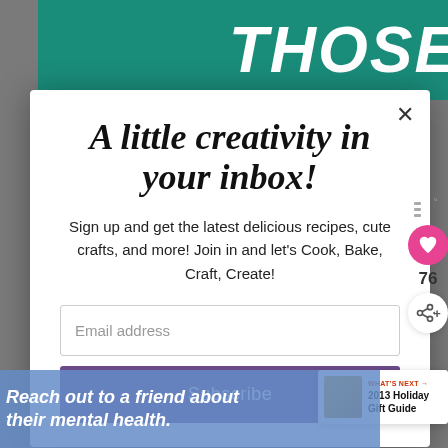[Figure (screenshot): Teal background with large bold italic white text 'THOSE']
A little creativity in your inbox!
Sign up and get the latest delicious recipes, cute crafts, and more! Join in and let's Cook, Bake, Craft, Create!
Email address
Subscribe
76
WHAT'S NEXT → 2013 Holiday Gift Guide
[Figure (screenshot): Blue overlay banner: 'Reach out to a friend about their mental health.']